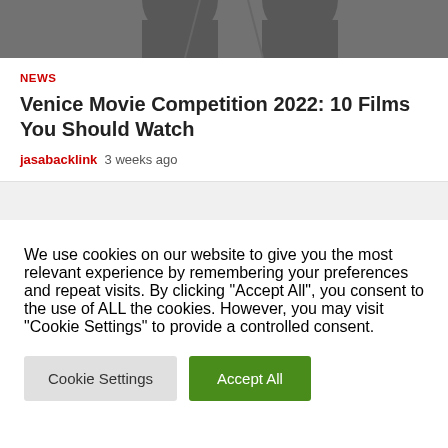[Figure (photo): Black and white photo showing partial view of a person, cropped at top]
NEWS
Venice Movie Competition 2022: 10 Films You Should Watch
jasabacklink  3 weeks ago
We use cookies on our website to give you the most relevant experience by remembering your preferences and repeat visits. By clicking "Accept All", you consent to the use of ALL the cookies. However, you may visit "Cookie Settings" to provide a controlled consent.